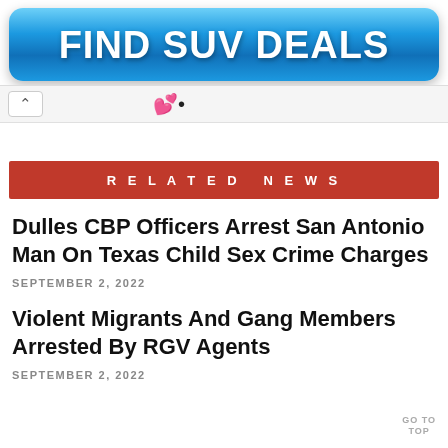[Figure (other): Blue gradient button advertisement banner reading FIND SUV DEALS in bold white text]
[Figure (screenshot): Browser navigation chrome bar with a back chevron arrow and a heart/bookmark icon]
RELATED NEWS
Dulles CBP Officers Arrest San Antonio Man On Texas Child Sex Crime Charges
SEPTEMBER 2, 2022
Violent Migrants And Gang Members Arrested By RGV Agents
SEPTEMBER 2, 2022
GO TO TOP